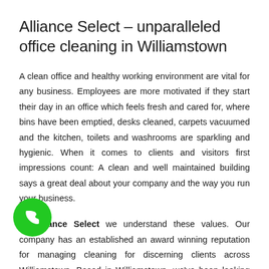Alliance Select – unparalleled office cleaning in Williamstown
A clean office and healthy working environment are vital for any business. Employees are more motivated if they start their day in an office which feels fresh and cared for, where bins have been emptied, desks cleaned, carpets vacuumed and the kitchen, toilets and washrooms are sparkling and hygienic. When it comes to clients and visitors first impressions count: A clean and well maintained building says a great deal about your company and the way you run your business.
At Alliance Select we understand these values. Our company has an established an award winning reputation for managing cleaning for discerning clients across Williamstown. Based in Williamstown, we've been looking after world-renowned clients and prestigious buildings for over 15 years, and we pride